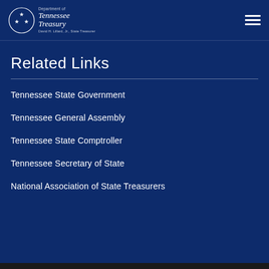Tennessee Department of Treasury — David H. Lillard, Jr., State Treasurer
Related Links
Tennessee State Government
Tennessee General Assembly
Tennessee State Comptroller
Tennessee Secretary of State
National Association of State Treasurers